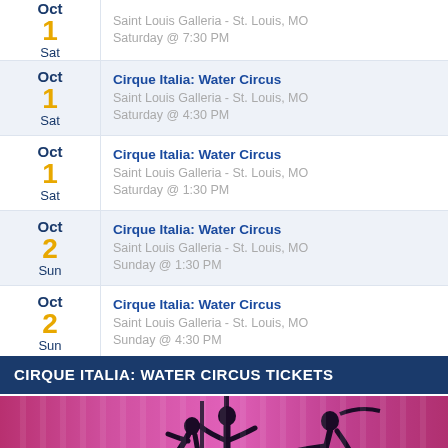| Date | Event |
| --- | --- |
| Oct 1 Sat | Cirque Italia: Water Circus
Saint Louis Galleria - St. Louis, MO
Saturday @ 7:30 PM |
| Oct 1 Sat | Cirque Italia: Water Circus
Saint Louis Galleria - St. Louis, MO
Saturday @ 4:30 PM |
| Oct 1 Sat | Cirque Italia: Water Circus
Saint Louis Galleria - St. Louis, MO
Saturday @ 1:30 PM |
| Oct 2 Sun | Cirque Italia: Water Circus
Saint Louis Galleria - St. Louis, MO
Sunday @ 1:30 PM |
| Oct 2 Sun | Cirque Italia: Water Circus
Saint Louis Galleria - St. Louis, MO
Sunday @ 4:30 PM |
CIRQUE ITALIA: WATER CIRCUS TICKETS
[Figure (photo): Silhouette of circus performers on aerial apparatus against a pink/magenta striped background]